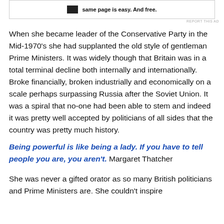[Figure (other): Advertisement banner with logo and text: same page is easy. And free.]
REPORT THIS AD
When she became leader of the Conservative Party in the Mid-1970's she had supplanted the old style of gentleman Prime Ministers. It was widely though that Britain was in a total terminal decline both internally and internationally. Broke financially, broken industrially and economically on a scale perhaps surpassing Russia after the Soviet Union. It was a spiral that no-one had been able to stem and indeed it was pretty well accepted by politicians of all sides that the country was pretty much history.
Being powerful is like being a lady. If you have to tell people you are, you aren't. Margaret Thatcher
She was never a gifted orator as so many British politicians and Prime Ministers are. She couldn't inspire